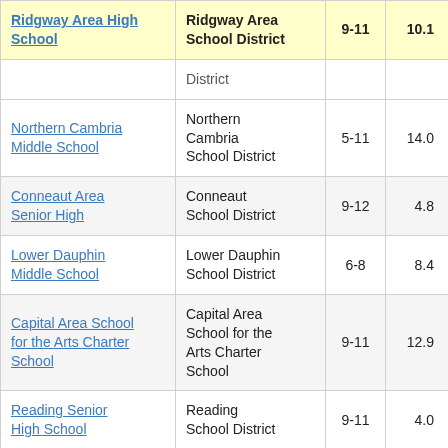| School | District | Grades | Value |
| --- | --- | --- | --- |
| Ridgway Area High School | Ridgway Area School District | 9-11 | 10.1 |
|  | District |  |  |
| Northern Cambria Middle School | Northern Cambria School District | 5-11 | 14.0 |
| Conneaut Area Senior High | Conneaut School District | 9-12 | 4.8 |
| Lower Dauphin Middle School | Lower Dauphin School District | 6-8 | 8.4 |
| Capital Area School for the Arts Charter School | Capital Area School for the Arts Charter School | 9-11 | 12.9 |
| Reading Senior High School | Reading School District | 9-11 | 4.0 |
| Lake-Lehman Junior/Senior High School | Lake-Lehman School District | 7-11 | 5.5 |